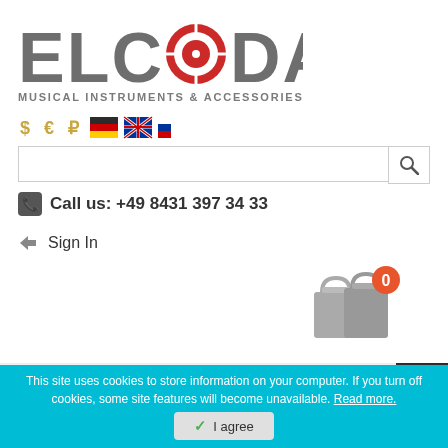[Figure (logo): Elcoda musical instruments & accessories logo with red crosshair target replacing the letter O]
[Figure (infographic): Currency selector icons (dollar, euro, ruble) and language flag icons (German, UK, Russian)]
[Figure (screenshot): Search input box with magnifier button]
Call us: +49 8431 397 34 33
Sign In
[Figure (infographic): Shopping cart icon with 0 badge counter]
[Figure (infographic): Dark hamburger/list menu button]
Home Page / Products / Accessories
This site uses cookies to store information on your computer. If you turn off cookies, some site features will become unavailable. Read more.
I agree